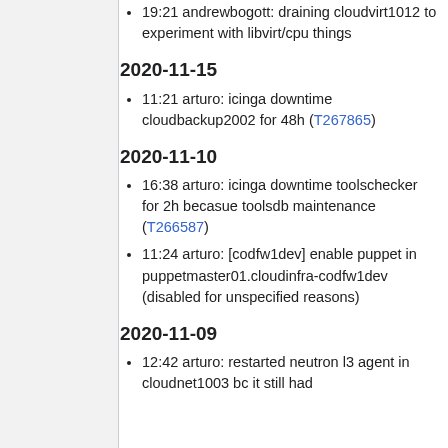19:21 andrewbogott: draining cloudvirt1012 to experiment with libvirt/cpu things
2020-11-15
11:21 arturo: icinga downtime cloudbackup2002 for 48h (T267865)
2020-11-10
16:38 arturo: icinga downtime toolschecker for 2h becasue toolsdb maintenance (T266587)
11:24 arturo: [codfw1dev] enable puppet in puppetmaster01.cloudinfra-codfw1dev (disabled for unspecified reasons)
2020-11-09
12:42 arturo: restarted neutron l3 agent in cloudnet1003 bc it still had